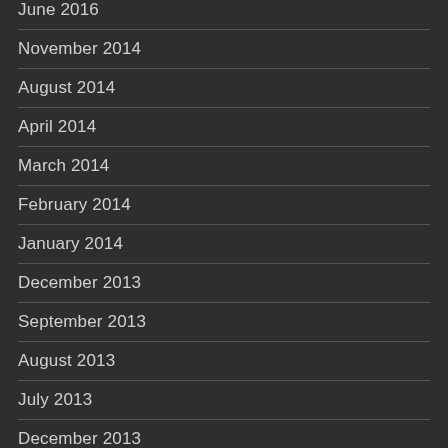June 2016
November 2014
August 2014
April 2014
March 2014
February 2014
January 2014
December 2013
September 2013
August 2013
July 2013
December 2013